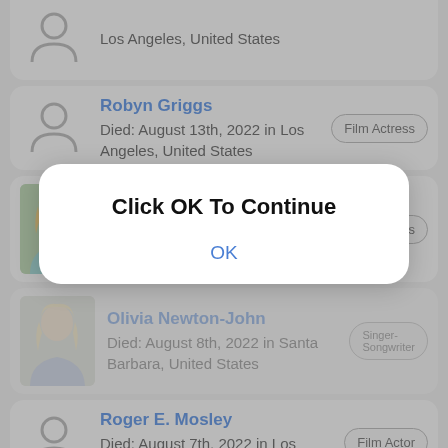Los Angeles, United States
Robyn Griggs
Died: August 13th, 2022 in Los Angeles, United States
Film Actress
Anne Heche
Died: August 12th, 2022 in Los Angeles, United States
Film Actress
Olivia Newton-John
Died: August 8th, 2022 in Santa Barbara, United States
Singer-Songwriter
Roger E. Mosley
Died: August 7th, 2022 in Los Angeles, United States
Film Actor
[Figure (screenshot): Modal dialog overlay with text 'Click OK To Continue' and an OK button]
More Celebrity Bios: